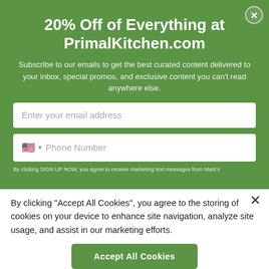20% Off of Everything at PrimalKitchen.com
Subscribe to our emails to get the best curated content delivered to your inbox, special promos, and exclusive content you can't read anywhere else.
Enter your email address
Phone Number
By clicking SIGN UP NOW, you agree to receive marketing text messages from Mark's
By clicking "Accept All Cookies", you agree to the storing of cookies on your device to enhance site navigation, analyze site usage, and assist in our marketing efforts.
Accept All Cookies